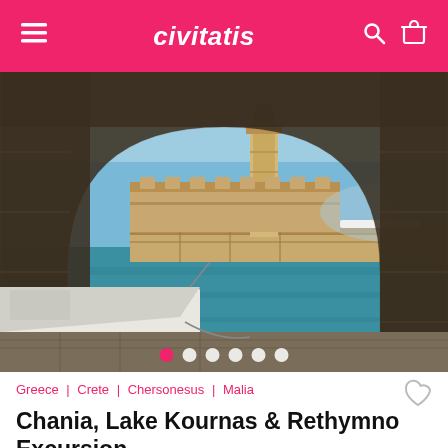civitatis
[Figure (photo): A Greek harbor scene viewed through a stone arch. A lighthouse stands on a stone pier, with boats moored in calm blue-green water. Blue sky and distant mountains visible.]
Greece | Crete | Chersonesus | Malia
Chania, Lake Kournas & Rethymno Excursion